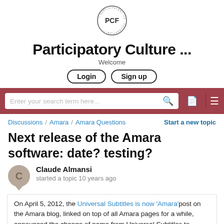[Figure (logo): PCF Participatory Culture Foundation circular logo with PCF letters in center]
Participatory Culture ...
Welcome
Login   Sign up
[Figure (screenshot): Search bar with text: Enter your search term here... and search icon, document icon, divider, hamburger menu icon on dark red background]
Discussions / Amara / Amara Questions    Start a new topic
Next release of the Amara software: date? testing?
Claude Almansi
started a topic 10 years ago
On April 5, 2012, the Universal Subtitles is now 'Amara' post on the Amara blog, linked on top of all Amara pages for a while, announced the change of name from Universal Subtitles to Amara. This post evoked the importance of